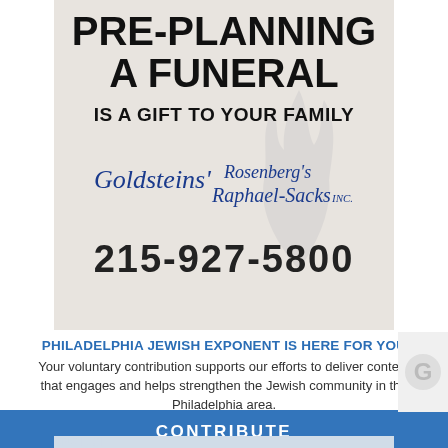[Figure (illustration): Funeral home advertisement with flame/candle smoke graphic in background on beige/tan background]
PRE-PLANNING A FUNERAL
IS A GIFT TO YOUR FAMILY
[Figure (logo): Goldsteins' Rosenberg's Raphael-Sacks Inc. logo in blue cursive script]
215-927-5800
PHILADELPHIA JEWISH EXPONENT IS HERE FOR YOU
Your voluntary contribution supports our efforts to deliver content that engages and helps strengthen the Jewish community in the Philadelphia area.
CONTRIBUTE
ENGLISH